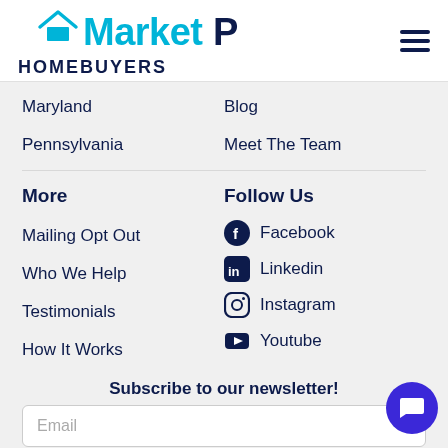[Figure (logo): MarketPro Homebuyers logo with house icon, teal and dark navy text, and hamburger menu icon on the right]
Maryland
Blog
Pennsylvania
Meet The Team
More
Follow Us
Mailing Opt Out
Facebook
Who We Help
Linkedin
Testimonials
Instagram
How It Works
Youtube
Subscribe to our newsletter!
Email